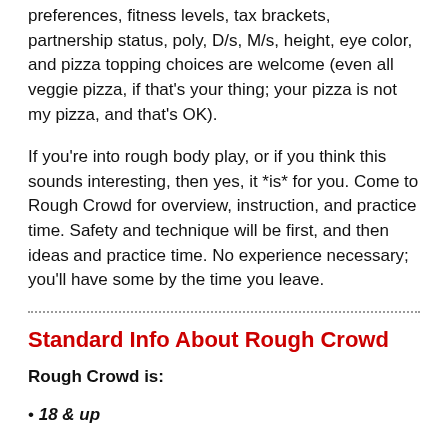preferences, fitness levels, tax brackets, partnership status, poly, D/s, M/s, height, eye color, and pizza topping choices are welcome (even all veggie pizza, if that's your thing; your pizza is not my pizza, and that's OK).
If you're into rough body play, or if you think this sounds interesting, then yes, it *is* for you. Come to Rough Crowd for overview, instruction, and practice time. Safety and technique will be first, and then ideas and practice time. No experience necessary; you'll have some by the time you leave.
Standard Info About Rough Crowd
Rough Crowd is:
18 & up